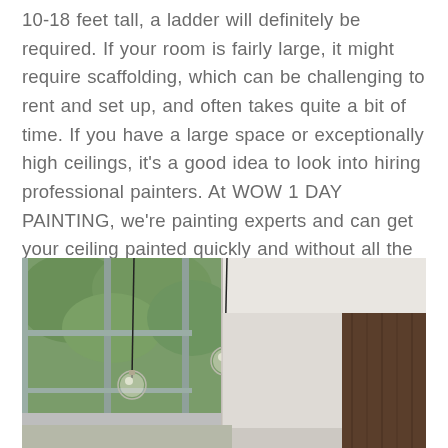10-18 feet tall, a ladder will definitely be required. If your room is fairly large, it might require scaffolding, which can be challenging to rent and set up, and often takes quite a bit of time. If you have a large space or exceptionally high ceilings, it's a good idea to look into hiring professional painters. At WOW 1 DAY PAINTING, we're painting experts and can get your ceiling painted quickly and without all the usual disruption.
[Figure (photo): Interior photo of a modern home with high ceilings, large floor-to-ceiling windows with trees visible outside, hanging globe pendant lights on thin black cords, white walls and ceiling, and a dark wood accent wall on the right side.]